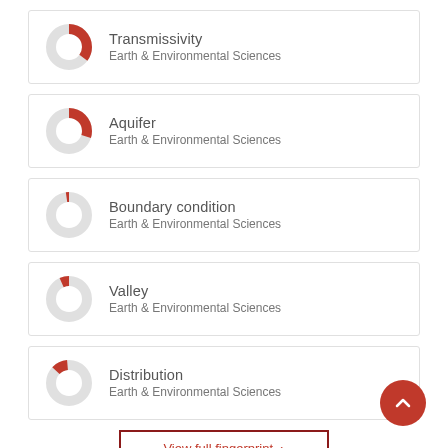[Figure (donut-chart): Donut chart showing approx 60% filled in red]
Transmissivity
Earth & Environmental Sciences
[Figure (donut-chart): Donut chart showing approx 55% filled in red]
Aquifer
Earth & Environmental Sciences
[Figure (donut-chart): Donut chart showing approx 20% filled in red]
Boundary condition
Earth & Environmental Sciences
[Figure (donut-chart): Donut chart showing approx 18% filled in red]
Valley
Earth & Environmental Sciences
[Figure (donut-chart): Donut chart showing approx 12% filled in red]
Distribution
Earth & Environmental Sciences
View full fingerprint ›